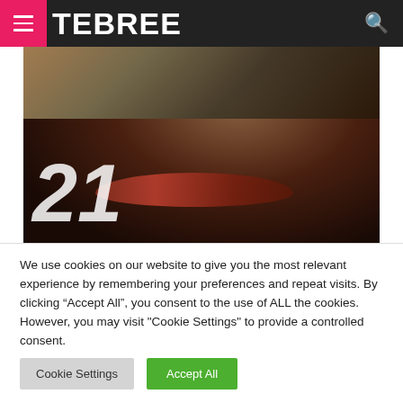TEBREE
[Figure (photo): Close-up dark photo showing a close-up of lips with the number 21 overlaid in white italic bold text]
We use cookies on our website to give you the most relevant experience by remembering your preferences and repeat visits. By clicking “Accept All”, you consent to the use of ALL the cookies. However, you may visit "Cookie Settings" to provide a controlled consent.